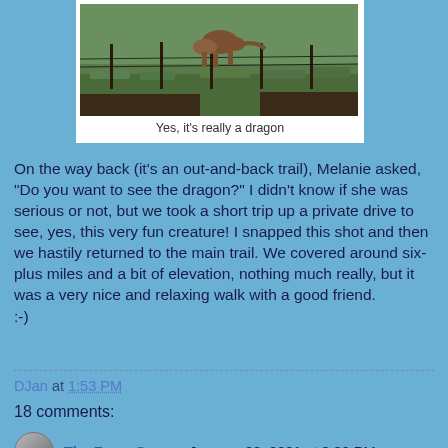[Figure (photo): Photo of a dragon sculpture/decoration in a green grassy field with wooden fence posts]
Yes, it's really a dragon
On the way back (it's an out-and-back trail), Melanie asked, "Do you want to see the dragon?" I didn't know if she was serious or not, but we took a short trip up a private drive to see, yes, this very fun creature! I snapped this shot and then we hastily returned to the main trail. We covered around six-plus miles and a bit of elevation, nothing much really, but it was a very nice and relaxing walk with a good friend.
:-)
DJan at 1:53 PM
18 comments:
The Furry Gnome  January 28, 2021 at 3:39 PM